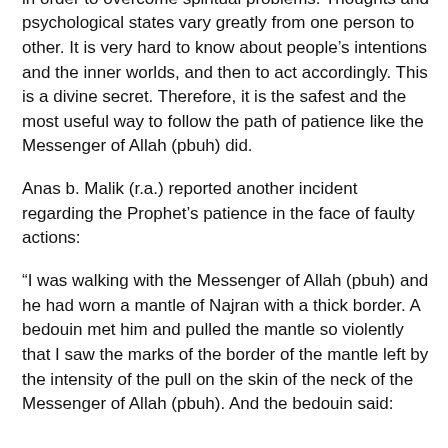world. There is no cure more effective than patience in order to overcome spiritual problems. Thoughts and psychological states vary greatly from one person to other. It is very hard to know about people's intentions and the inner worlds, and then to act accordingly. This is a divine secret. Therefore, it is the safest and the most useful way to follow the path of patience like the Messenger of Allah (pbuh) did.
Anas b. Malik (r.a.) reported another incident regarding the Prophet's patience in the face of faulty actions:
“I was walking with the Messenger of Allah (pbuh) and he had worn a mantle of Najran with a thick border. A bedouin met him and pulled the mantle so violently that I saw the marks of the border of the mantle left by the intensity of the pull on the skin of the neck of the Messenger of Allah (pbuh). And the bedouin said: